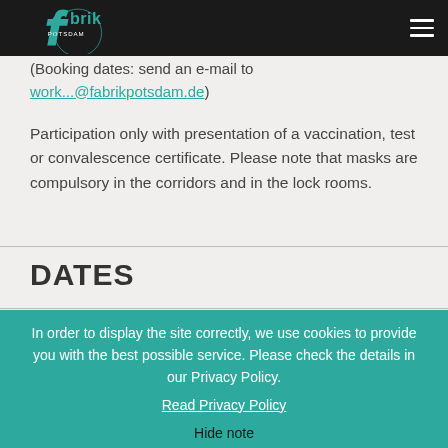fabrik POTSDAM — navigation bar with logo and hamburger menu
(Booking dates: send an e-mail to work...@fabrikpotsdam.de)
Participation only with presentation of a vaccination, test or convalescence certificate. Please note that masks are compulsory in the corridors and in the lock rooms.
DATES
In order to display the site correctly, we use cookies to provide you with the best possible service. Please check the details in our Privacy Policy.
Read Privacy Policy

Hide note